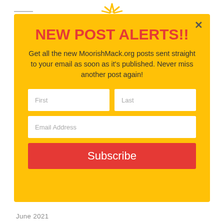[Figure (logo): MoorishMack.org logo mark (stylized crown/sunburst in gold/yellow) at top center]
NEW POST ALERTS!!
Get all the new MoorishMack.org posts sent straight to your email as soon as it's published. Never miss another post again!
[Figure (screenshot): Subscription form with First, Last, Email Address input fields and a red Subscribe button]
June 2021